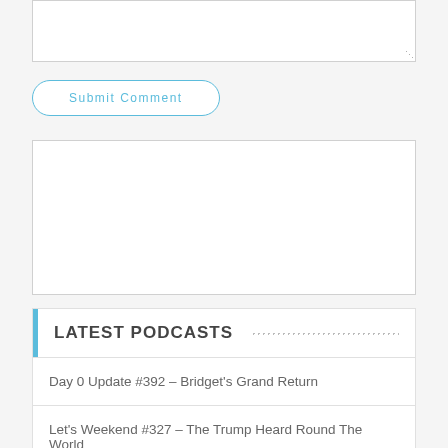[Figure (screenshot): Text area input box (top portion visible, partially cut off at top)]
Submit Comment
[Figure (screenshot): Advertisement or content box (empty white rectangle)]
LATEST PODCASTS
Day 0 Update #392 – Bridget's Grand Return
Let's Weekend #327 – The Trump Heard Round The World
Day 0 Update #391 – Koch Play